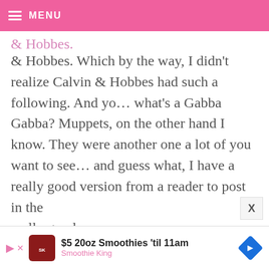MENU
& Hobbes. Which by the way, I didn't realize Calvin & Hobbes had such a following. And yo... what's a Gabba Gabba? Muppets, on the other hand I know. They were another one a lot of you want to see... and guess what, I have a really good version from a reader to post in the
really good.
[Figure (infographic): Advertisement banner for Smoothie King: $5 20oz Smoothies 'til 11am with play button, Smoothie King logo, and a blue diamond navigation arrow icon.]